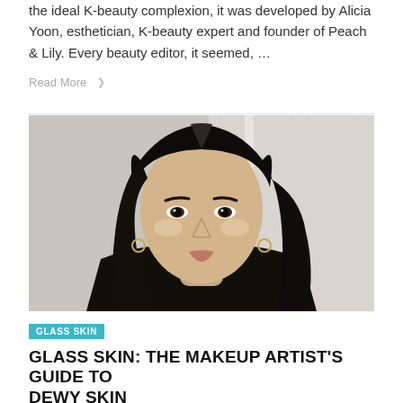the ideal K-beauty complexion, it was developed by Alicia Yoon, esthetician, K-beauty expert and founder of Peach & Lily. Every beauty editor, it seemed, …
Read More ❯
[Figure (photo): Close-up portrait of an Asian woman with long straight dark hair, wearing a black leather jacket, against a light grey background. Her skin has a glassy, dewy appearance.]
GLASS SKIN
GLASS SKIN: THE MAKEUP ARTIST'S GUIDE TO DEWY SKIN